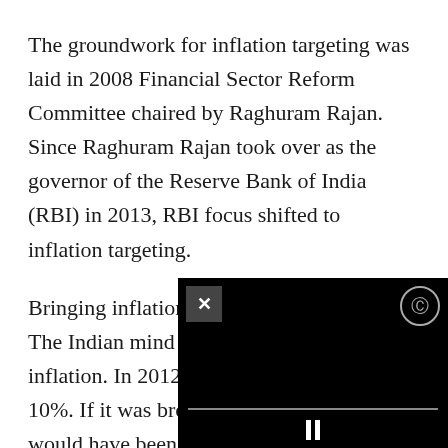The groundwork for inflation targeting was laid in 2008 Financial Sector Reform Committee chaired by Raghuram Rajan. Since Raghuram Rajan took over as the governor of the Reserve Bank of India (RBI) in 2013, RBI focus shifted to inflation targeting.
Bringing inflation down is not a bad idea. The Indian mind is acclimatised to 7% inflation. In 2012, inflation went beyond 10%. If it was brought down to 7%, we would have been fine.
But the lowering inflation be[yond...]